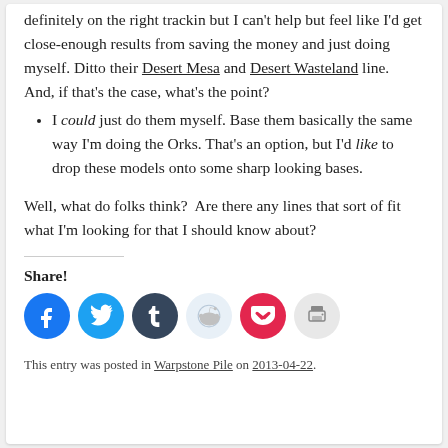definitely on the right trackin but I can't help but feel like I'd get close-enough results from saving the money and just doing myself. Ditto their Desert Mesa and Desert Wasteland line.  And, if that's the case, what's the point?
I could just do them myself. Base them basically the same way I'm doing the Orks. That's an option, but I'd like to drop these models onto some sharp looking bases.
Well, what do folks think?  Are there any lines that sort of fit what I'm looking for that I should know about?
Share!
[Figure (infographic): Row of six social share buttons: Facebook (blue circle), Twitter (light blue circle), Tumblr (dark navy circle), Reddit (light blue circle), Pocket (red circle), Print (light gray circle)]
This entry was posted in Warpstone Pile on 2013-04-22.